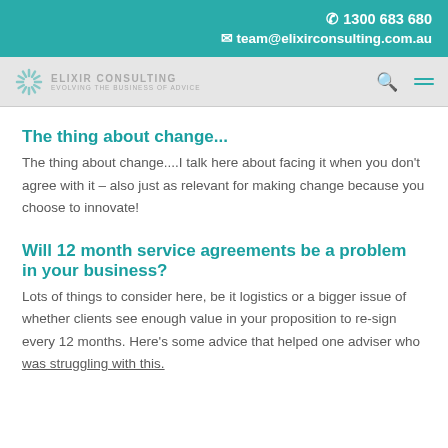1300 683 680
team@elixirconsulting.com.au
[Figure (logo): Elixir Consulting logo with sunburst icon and tagline 'Evolving the Business of Advice']
The thing about change...
The thing about change....I talk here about facing it when you don't agree with it – also just as relevant for making change because you choose to innovate!
Will 12 month service agreements be a problem in your business?
Lots of things to consider here, be it logistics or a bigger issue of whether clients see enough value in your proposition to re-sign every 12 months. Here's some advice that helped one adviser who was struggling with this.